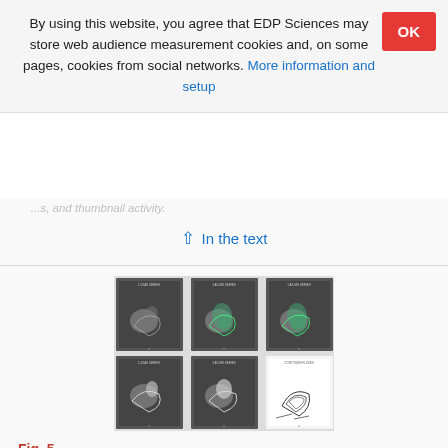By using this website, you agree that EDP Sciences may store web audience measurement cookies and, on some pages, cookies from social networks. More information and setup
In the text
[Figure (other): Six-panel figure showing RHESSI isocontour overplots. Top row: three solar images with contours/overlays in grayscale and green. Bottom row: two solar images in grayscale and one white line contour plot.]
Fig. 5
a)–e) Overplots of RHESSI isocontours over the H-alpha images at different bands and energy ranges